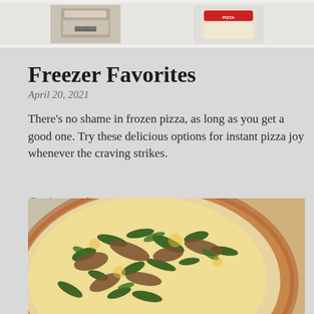[Figure (photo): Top banner showing frozen pizza product packaging images on a light background]
Freezer Favorites
April 20, 2021
There's no shame in frozen pizza, as long as you get a good one. Try these delicious options for instant pizza joy whenever the craving strikes.
Continue reading …
[Figure (photo): Close-up photograph of a pizza topped with spinach, mushrooms, and cheese on a wooden board, viewed from above at an angle]